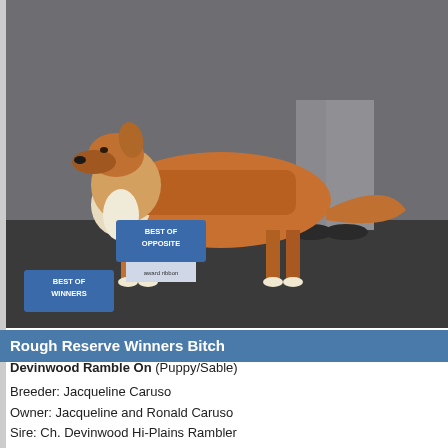[Figure (photo): Dog show photo: a sable rough collie (Lassie type) standing in show pose on a dark surface. A handler in grey trousers stands behind. Award signs visible: 'Best of Opposite' and 'Best of Winners'.]
Rough Reserve Winners Bitch
Devinwood Ramble On (Puppy/Sable)
Breeder: Jacqueline Caruso
Owner: Jacqueline and Ronald Caruso
Sire: Ch. Devinwood Hi-Plains Rambler
Dam: Ch. Southland's Island Fever
Handler: Pete Denbow
[Figure (photo): Award ceremony photo: a blonde woman in black jacket holding ribbon rosettes stands next to a man in a dark suit bending down with number 16 armband, with a small sable collie puppy visible at the bottom. Background is a mottled blue-grey studio backdrop.]